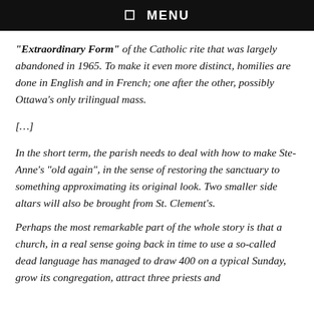☰  MENU
“Extraordinary Form” of the Catholic rite that was largely abandoned in 1965. To make it even more distinct, homilies are done in English and in French; one after the other, possibly Ottawa’s only trilingual mass.
[…]
In the short term, the parish needs to deal with how to make Ste-Anne’s “old again”, in the sense of restoring the sanctuary to something approximating its original look. Two smaller side altars will also be brought from St. Clement’s.
Perhaps the most remarkable part of the whole story is that a church, in a real sense going back in time to use a so-called dead language has managed to draw 400 on a typical Sunday, grow its congregation, attract three priests and